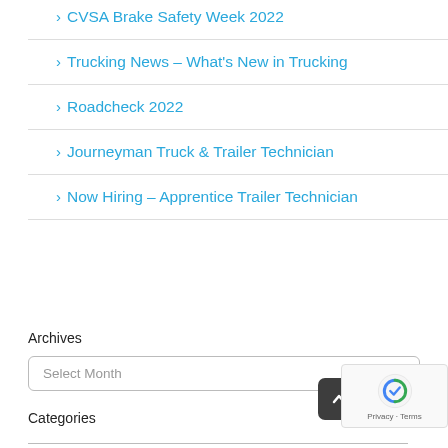> CVSA Brake Safety Week 2022
> Trucking News – What's New in Trucking
> Roadcheck 2022
> Journeyman Truck & Trailer Technician
> Now Hiring – Apprentice Trailer Technician
Archives
Select Month
Categories